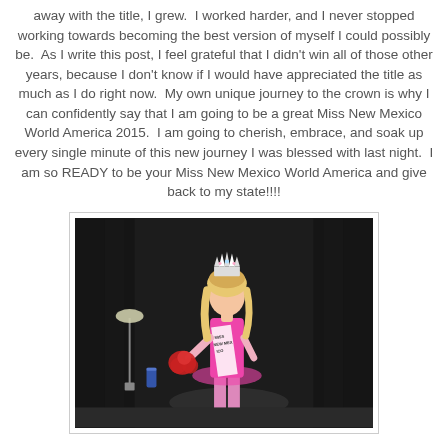away with the title, I grew.  I worked harder, and I never stopped working towards becoming the best version of myself I could possibly be.  As I write this post, I feel grateful that I didn't win all of those other years, because I don't know if I would have appreciated the title as much as I do right now.  My own unique journey to the crown is why I can confidently say that I am going to be a great Miss New Mexico World America 2015.  I am going to cherish, embrace, and soak up every single minute of this new journey I was blessed with last night.  I am so READY to be your Miss New Mexico World America and give back to my state!!!!
[Figure (photo): Woman in pink gown wearing a crown and sash, holding flowers, standing on a dark stage with curtains. A lamp and drink can are visible at lower left.]